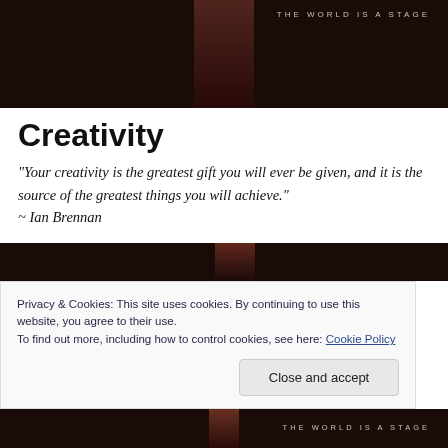[Figure (photo): Dark atmospheric photo with a figure silhouette; text overlay reads 'THE WORLD IS A STAGE']
Creativity
“Your creativity is the greatest gift you will ever be given, and it is the source of the greatest things you will achieve.” ~ Ian Brennan
[Figure (photo): Dark atmospheric photo strip]
Privacy & Cookies: This site uses cookies. By continuing to use this website, you agree to their use.
To find out more, including how to control cookies, see here: Cookie Policy
Close and accept
[Figure (photo): Dark atmospheric photo strip at bottom with text 'THE WORLD IS A STAGE']